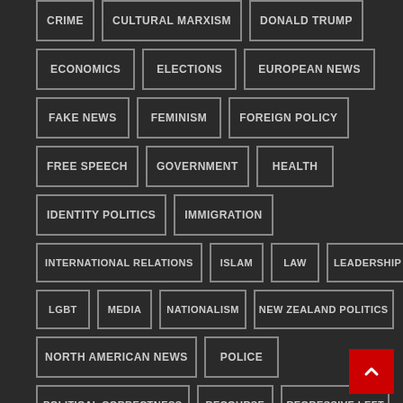CRIME
CULTURAL MARXISM
DONALD TRUMP
ECONOMICS
ELECTIONS
EUROPEAN NEWS
FAKE NEWS
FEMINISM
FOREIGN POLICY
FREE SPEECH
GOVERNMENT
HEALTH
IDENTITY POLITICS
IMMIGRATION
INTERNATIONAL RELATIONS
ISLAM
LAW
LEADERSHIP
LGBT
MEDIA
NATIONALISM
NEW ZEALAND POLITICS
NORTH AMERICAN NEWS
POLICE
POLITICAL CORRECTNESS
RECOURSE
REGRESSIVE LEFT
RELIGION
REPORT FROM TIGER MOUNTAIN
RUNDOWN
SHOWS
SOCIALISM
SOCIAL MEDIA
TERRORISM